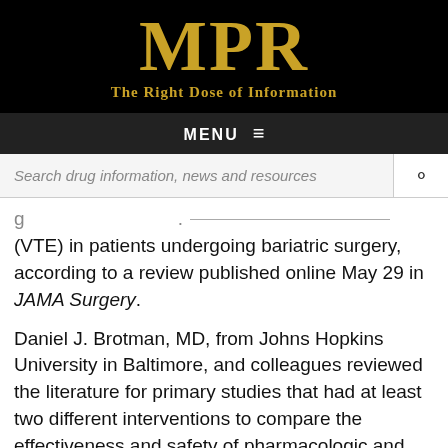[Figure (logo): MPR logo with tagline 'The Right Dose of Information' on black background]
MENU ≡
Search drug information, news and resources
(VTE) in patients undergoing bariatric surgery, according to a review published online May 29 in JAMA Surgery.
Daniel J. Brotman, MD, from Johns Hopkins University in Baltimore, and colleagues reviewed the literature for primary studies that had at least two different interventions to compare the effectiveness and safety of pharmacologic and mechanical strategies to prevent VTE in patients undergoing bariatric surgery.